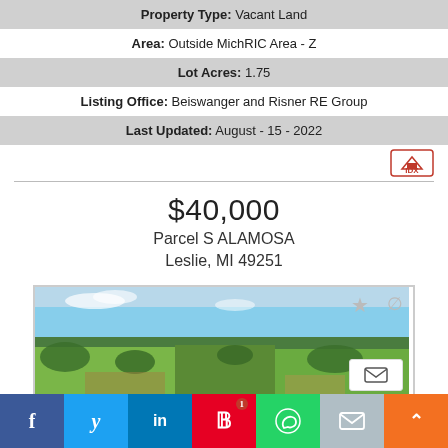Property Type: Vacant Land
Area: Outside MichRIC Area - Z
Lot Acres: 1.75
Listing Office: Beiswanger and Risner RE Group
Last Updated: August - 15 - 2022
$40,000
Parcel S ALAMOSA
Leslie, MI 49251
[Figure (photo): Aerial landscape photo showing green fields and trees under a blue sky — vacant land parcel listing photo]